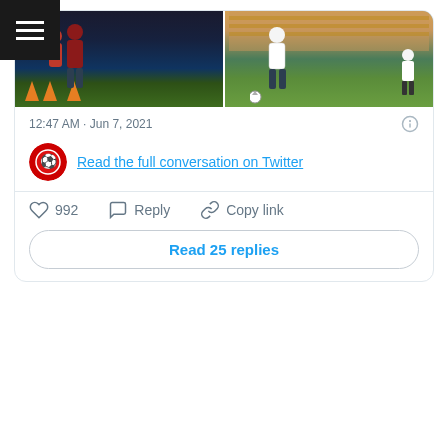[Figure (screenshot): Twitter/X screenshot showing a tweet card with two soccer photos side by side, a timestamp of 12:47 AM · Jun 7, 2021, a 'Read the full conversation on Twitter' link, like count of 992, Reply and Copy link actions, and a 'Read 25 replies' button]
12:47 AM · Jun 7, 2021
Read the full conversation on Twitter
992
Reply
Copy link
Read 25 replies